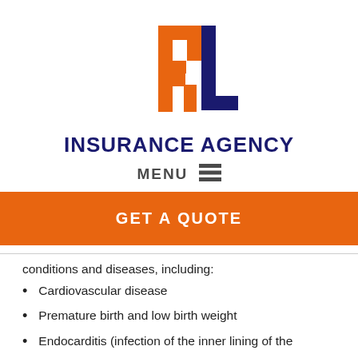[Figure (logo): RL Insurance Agency logo — stylized reversed R in orange and L in dark navy blue]
INSURANCE AGENCY
MENU ≡
GET A QUOTE
conditions and diseases, including:
Cardiovascular disease
Premature birth and low birth weight
Endocarditis (infection of the inner lining of the